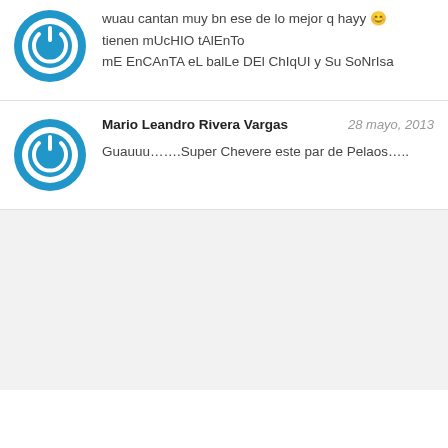wuau cantan muy bn ese de lo mejor q hayy 😊
tienen mUcHIO tAlEnTo
mE EnCAnTA eL balLe DEl ChIqUI y Su SoNrIsa
Mario Leandro Rivera Vargas    28 mayo, 2013
Guauuu…….Super Chevere este par de Pelaos…..